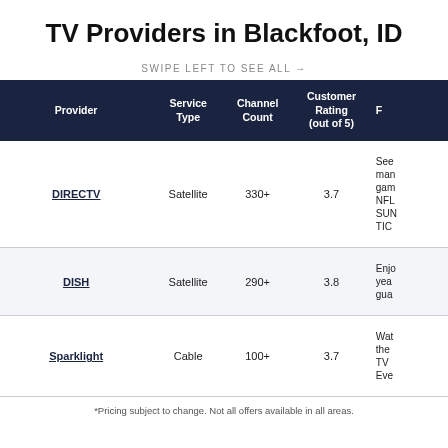TV Providers in Blackfoot, ID
SWIPE LEFT TO SEE ALL →
| Provider | Service Type | Channel Count | Customer Rating (out of 5) | F… |
| --- | --- | --- | --- | --- |
| DIRECTV | Satellite | 330+ | 3.7 | See man… NFL SUN TIC… |
| DISH | Satellite | 290+ | 3.8 | Enj… yea… gua… |
| Sparklight | Cable | 100+ | 3.7 | Wat… the TV Eve… |
*Pricing subject to change. Not all offers available in all areas.